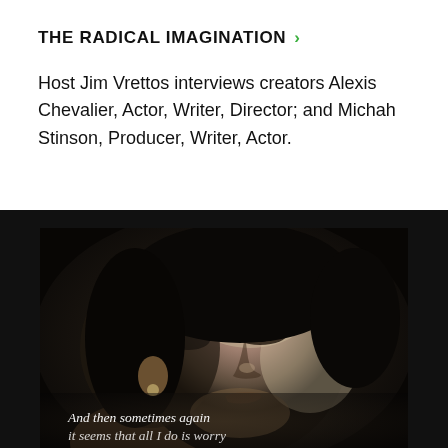THE RADICAL IMAGINATION
Host Jim Vrettos interviews creators Alexis Chevalier, Actor, Writer, Director; and Michah Stinson, Producer, Writer, Actor.
[Figure (photo): Black and white close-up portrait of a woman looking upward, with text overlay at the bottom reading 'And then sometimes again it seems that all I do is worry']